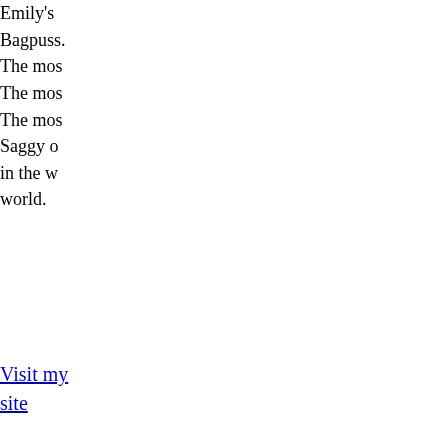Emily's Bagpuss. The most... The most... The most... Saggy old... in the w... world.
Visit my site
Alternat... Catnip's Homage...
If you w... depth analysis... you sho... Jill's Soc... Analysis... Bagpuss... you can... question... world's l...